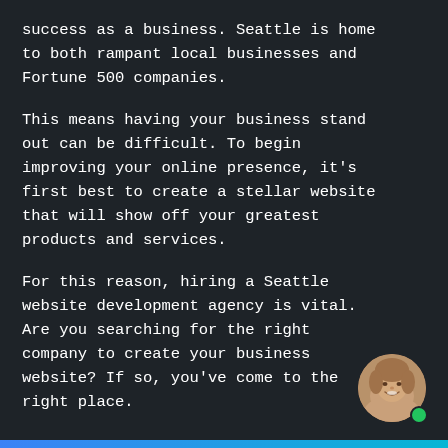success as a business. Seattle is home to both rampant local businesses and Fortune 500 companies.
This means having your business stand out can be difficult. To begin improving your online presence, it's first best to create a stellar website that will show off your greatest products and services.
For this reason, hiring a Seattle website development agency is vital. Are you searching for the right company to create your business website? If so, you've come to the right place.
[Figure (photo): Circular avatar photo of a smiling woman with light brown/blonde hair, with a green online status dot at the bottom right of the circle.]